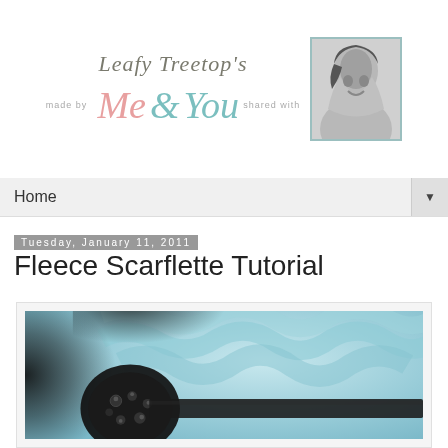[Figure (logo): Leafy Treetop's blog logo with script text reading 'made by Me & You shared with' and a photo of a woman]
Home
Tuesday, January 11, 2011
Fleece Scarflette Tutorial
[Figure (photo): Close-up photo of a light blue fleece scarflette with a black decorative button/ornament and black ribbon trim]